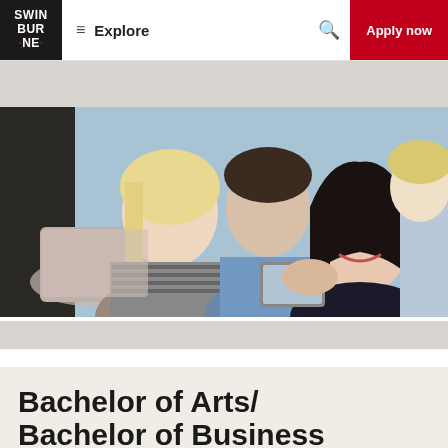SWINBURNE · | Explore | Apply now
[Figure (photo): Group of smiling students gathered around a laptop in a university setting, appearing to collaborate on a project.]
Bachelor of Arts/ Bachelor of Business
with majors in Sociology and